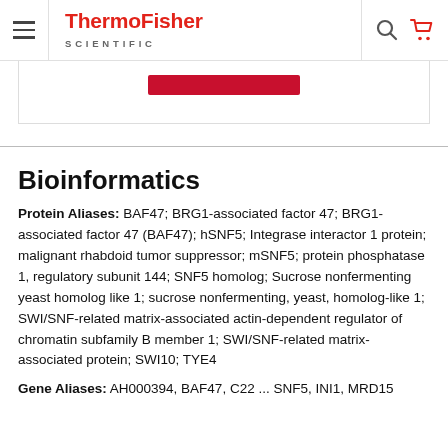ThermoFisher Scientific
[Figure (other): Partial banner image with a red button/element visible at top]
Bioinformatics
Protein Aliases: BAF47; BRG1-associated factor 47; BRG1-associated factor 47 (BAF47); hSNF5; Integrase interactor 1 protein; malignant rhabdoid tumor suppressor; mSNF5; protein phosphatase 1, regulatory subunit 144; SNF5 homolog; Sucrose nonfermenting yeast homolog like 1; sucrose nonfermenting, yeast, homolog-like 1; SWI/SNF-related matrix-associated actin-dependent regulator of chromatin subfamily B member 1; SWI/SNF-related matrix-associated protein; SWI10; TYE4
Gene Aliases: AH000394, BAF47, C22 ... SNF5, INI1, MRD15